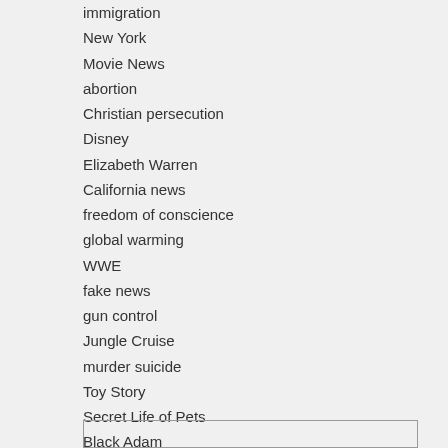immigration
New York
Movie News
abortion
Christian persecution
Disney
Elizabeth Warren
California news
freedom of conscience
global warming
WWE
fake news
gun control
Jungle Cruise
murder suicide
Toy Story
Secret Life of Pets
Black Adam
Boko Haram
racism in America
US Senate